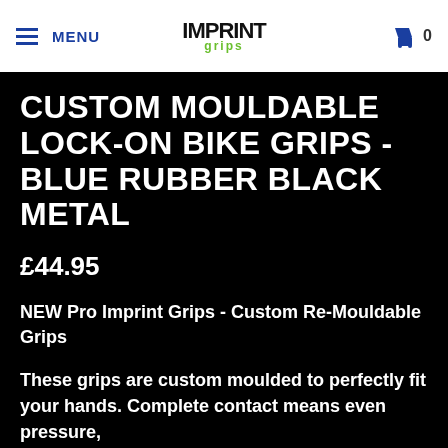MENU  PRO IMPRINT GRIPS  IM PRINT grips  0
CUSTOM MOULDABLE LOCK-ON BIKE GRIPS - BLUE RUBBER BLACK METAL
£44.95
NEW Pro Imprint Grips - Custom Re-Mouldable Grips
These grips are custom moulded to perfectly fit your hands. Complete contact means even pressure,